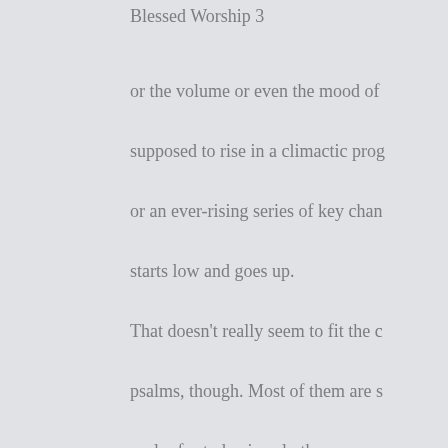Blessed Worship 3
or the volume or even the mood of supposed to rise in a climactic prog or an ever-rising series of key chan starts low and goes up. That doesn't really seem to fit the c psalms, though. Most of them are s psalm for today is only three verses theme. It's hard to imagine styling i that would evoke the idea of an upw Then there's the possibility that this essentially meaning, "songs of thin